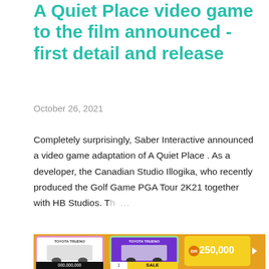A Quiet Place video game to the film announced - first detail and release
October 26, 2021
Completely surprisingly, Saber Interactive announced a video game adaptation of A Quiet Place . As a developer, the Canadian Studio Illogika, who recently produced the Golf Game PGA Tour 2K21 together with HB Studios. Th ...
SHARE   POST A COMMENT   READ MORE
[Figure (screenshot): Bottom strip showing game cards for Toyota Trueno and a yellow prize card showing 250,000 coins, on an orange background with navigation arrows.]